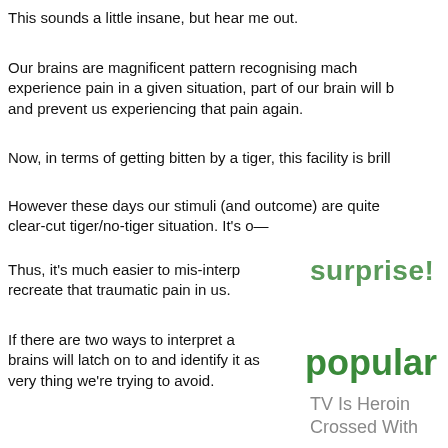This sounds a little insane, but hear me out.
Our brains are magnificent pattern recognising mach... experience pain in a given situation, part of our brain will b... and prevent us experiencing that pain again.
Now, in terms of getting bitten by a tiger, this facility is brill...
However these days our stimuli (and outcome) are quite... clear-cut tiger/no-tiger situation. It's o...
Thus, it's much easier to mis-interp... recreate that traumatic pain in us.
surprise!
If there are two ways to interpret a... brains will latch on to and identify it as... very thing we're trying to avoid.
popular
TV Is Heroin Crossed With